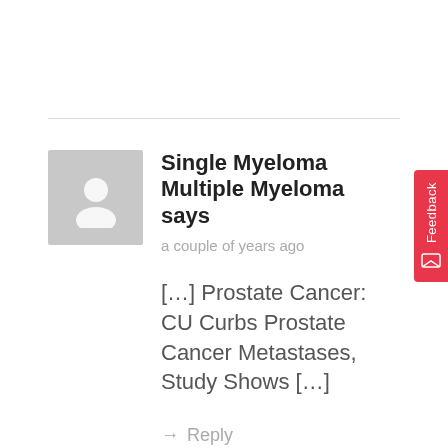Single Myeloma Multiple Myeloma says
a couple of years ago
[…] Prostate Cancer: CU Curbs Prostate Cancer Metastases, Study Shows […]
→ Reply